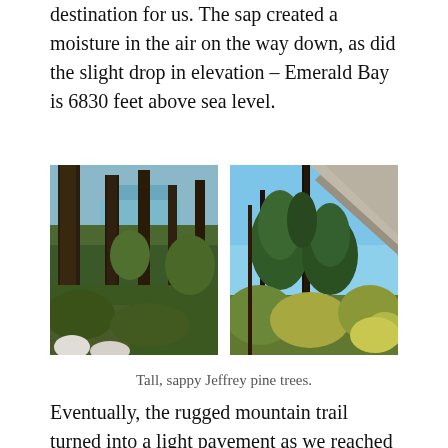destination for us. The sap created a moisture in the air on the way down, as did the slight drop in elevation – Emerald Bay is 6830 feet above sea level.
[Figure (photo): Two side-by-side outdoor photographs of tall Jeffrey pine trees in a forest. Left photo shows dark tree trunks with a glimpse of blue lake water through the trees and green undergrowth below. Right photo shows tall pine trees against a bright blue sky with a rocky mountain in the background and mixed green and yellow foliage.]
Tall, sappy Jeffrey pine trees.
Eventually, the rugged mountain trail turned into a light pavement as we reached ground level and worked our way to Vikingsholm